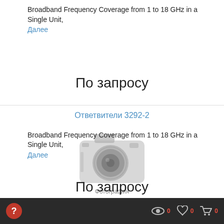Broadband Frequency Coverage from 1 to 18 GHz in a Single Unit,
Далее
По запросу
Ответвители 3292-2
[Figure (photo): Camera/photo placeholder icon with text 'Фотография подготавливается']
Фотография подготавливается
Broadband Frequency Coverage from 1 to 18 GHz in a Single Unit,
Далее
По запросу
? 0 0 0